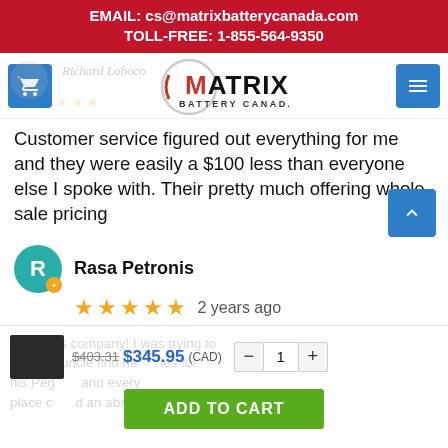EMAIL: cs@matrixbatterycanada.com
TOLL-FREE: 1-855-564-9350
[Figure (logo): Matrix Battery Canada logo with circular border and red M]
Customer service figured out everything for me and they were easily a $100 less than everyone else I spoke with. Their pretty much offering whole sale pricing
Rasa Petronis
★★★★★ 2 years ago
I love this company! I was trying to help my uncle find new batteries for his Pego... and every place charged an absurd
$403.31 $345.95 (CAD)  -  1  +
ADD TO CART